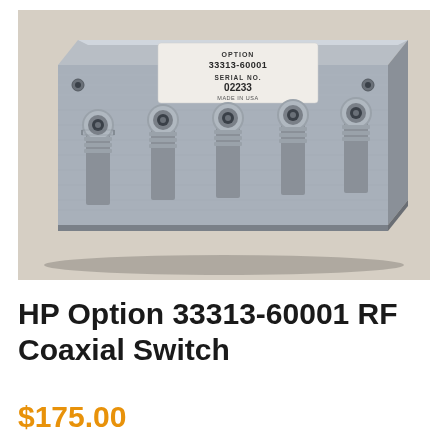[Figure (photo): Photo of HP Option 33313-60001 RF Coaxial Switch — a rectangular metallic (aluminum/steel) enclosure with five SMA female coaxial connectors on the front face, and a label on top reading 'OPTION 33313-60001 SERIAL NO. 02233 MADE IN USA'.]
HP Option 33313-60001 RF Coaxial Switch
$175.00